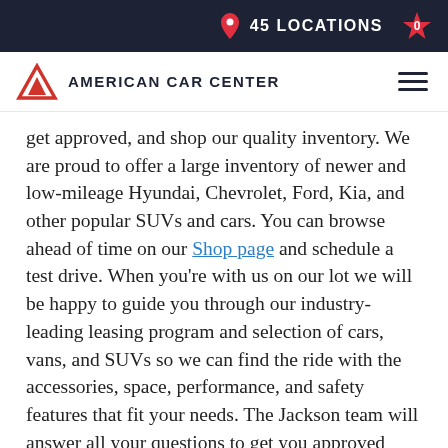45 LOCATIONS
[Figure (logo): American Car Center logo with red triangle/mountain icon and hamburger menu]
get approved, and shop our quality inventory. We are proud to offer a large inventory of newer and low-mileage Hyundai, Chevrolet, Ford, Kia, and other popular SUVs and cars. You can browse ahead of time on our Shop page and schedule a test drive. When you're with us on our lot we will be happy to guide you through our industry-leading leasing program and selection of cars, vans, and SUVs so we can find the ride with the accessories, space, performance, and safety features that fit your needs. The Jackson team will answer all your questions to get you approved quickly and take the next step to you behind the wheel.
We want you to shop and get approved with ease and confidence. Check out the documents you'll need to bring during your dealership appointment to get you approved. Then, after you're approved and drive off in your new